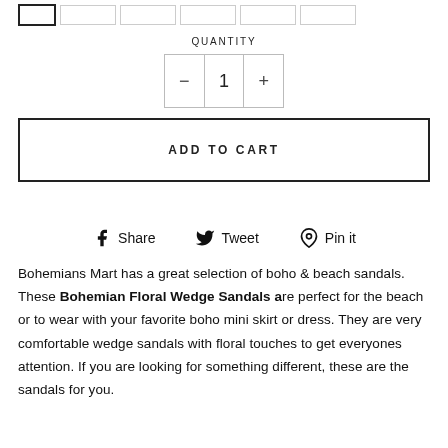QUANTITY
- 1 +
ADD TO CART
Share  Tweet  Pin it
Bohemians Mart has a great selection of boho & beach sandals. These Bohemian Floral Wedge Sandals are perfect for the beach or to wear with your favorite boho mini skirt or dress. They are very comfortable wedge sandals with floral touches to get everyones attention. If you are looking for something different, these are the sandals for you.